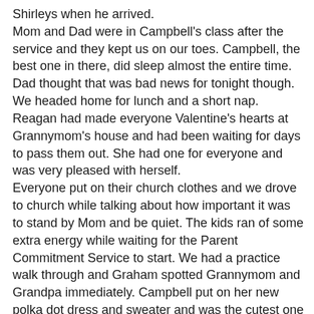Shirleys when he arrived. Mom and Dad were in Campbell's class after the service and they kept us on our toes. Campbell, the best one in there, did sleep almost the entire time. Dad thought that was bad news for tonight though. We headed home for lunch and a short nap. Reagan had made everyone Valentine's hearts at Grannymom's house and had been waiting for days to pass them out. She had one for everyone and was very pleased with herself. Everyone put on their church clothes and we drove to church while talking about how important it was to stand by Mom and be quiet. The kids ran of some extra energy while waiting for the Parent Commitment Service to start. We had a practice walk through and Graham spotted Grannymom and Grandpa immediately. Campbell put on her new polka dot dress and sweater and was the cutest one there and the youngest one too. As we walked in during the service, Graham saw Pops and said “Pop.” Reagan was so proud of herself and her sister walking across the stage. Anderson who had been having a little bit of his Dad’s travel stomach told Dad that he needed to potty while we were in front of the church. We sent him off to Pops who took care of that (and if